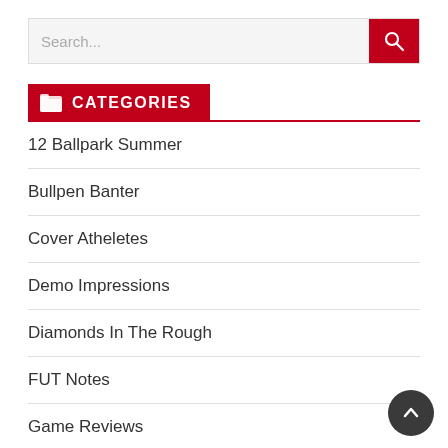CATEGORIES
12 Ballpark Summer
Bullpen Banter
Cover Atheletes
Demo Impressions
Diamonds In The Rough
FUT Notes
Game Reviews
Giveaway
Leagues